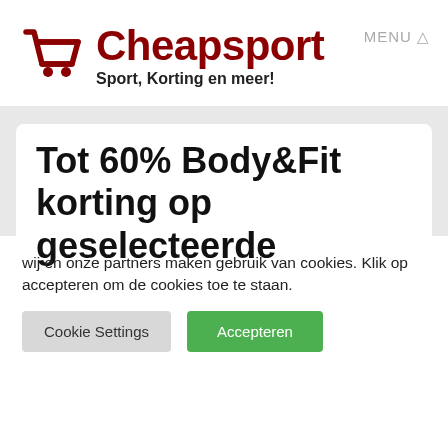[Figure (logo): Cheapsport logo with shopping cart icon in dark red, brand name 'Cheapsport' in dark red bold text, tagline 'Sport, Korting en meer!' below]
MENU ⬧
Tot 60% Body&Fit korting op geselecteerde
wij en onze partners maken gebruik van cookies. Klik op accepteren om de cookies toe te staan.
Cookie Settings
Accepteren